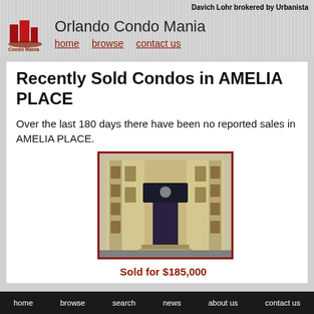Davich Lohr brokered by Urbanista
Orlando Condo Mania
home   browse   contact us
Recently Sold Condos in AMELIA PLACE
Over the last 180 days there have been no reported sales in AMELIA PLACE.
[Figure (photo): Photo of a condo building entrance with dark awning and decorative elements]
Sold for $185,000
home   browse   search   news   about us   contact us